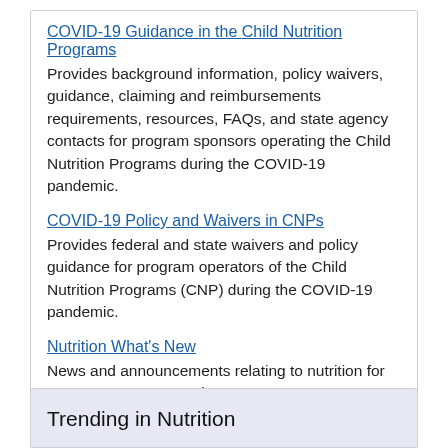COVID-19 Guidance in the Child Nutrition Programs
Provides background information, policy waivers, guidance, claiming and reimbursements requirements, resources, FAQs, and state agency contacts for program sponsors operating the Child Nutrition Programs during the COVID-19 pandemic.
COVID-19 Policy and Waivers in CNPs
Provides federal and state waivers and policy guidance for program operators of the Child Nutrition Programs (CNP) during the COVID-19 pandemic.
Nutrition What's New
News and announcements relating to nutrition for program operators and contacts.
Trending in Nutrition